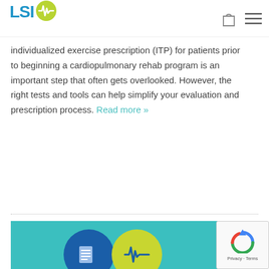LSI [logo with heartbeat icon] — shopping bag icon and menu icon
individualized exercise prescription (ITP) for patients prior to beginning a cardiopulmonary rehab program is an important step that often gets overlooked. However, the right tests and tools can help simplify your evaluation and prescription process. Read more »
[Figure (illustration): Teal/turquoise background with two circular icons: a blue circle with a document/list icon and a yellow-green circle with a heartbeat/ECG monitor icon. Partial view of a promotional image.]